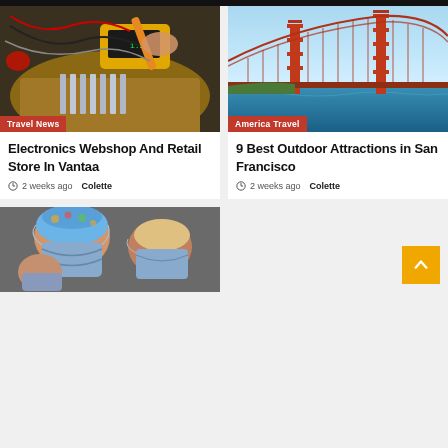[Figure (photo): Person soldering or testing electronics with a yellow multimeter and heat sink components on a workbench]
Travel News
Electronics Webshop And Retail Store In Vantaa
2 weeks ago  Colette
[Figure (photo): Aerial view of the Golden Gate Bridge in San Francisco with blue water and sky]
America Travel
9 Best Outdoor Attractions in San Francisco
2 weeks ago  Colette
[Figure (photo): People wearing surgical masks and colorful scrub caps, medical workers or patients]